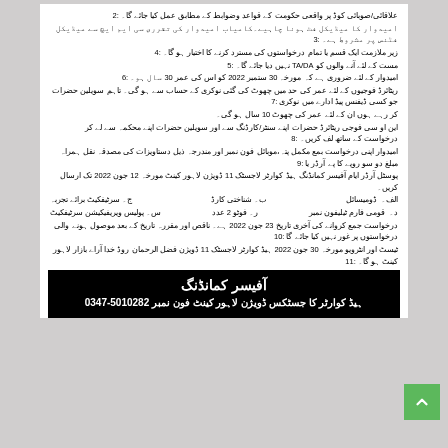Urdu language government notice listing conditions numbered 2-11 for job application, including eligibility criteria, medical fitness, travel allowance, age limit, retirement rules, document submission instructions, application deadline (23 June 2022), and interview date (30 June 2022).
آفیسر کمانڈنگ
ہیڈ کوارٹر کا جسٹکس ڈویژن لاہور کینٹ فون نمبر 0347-5010282